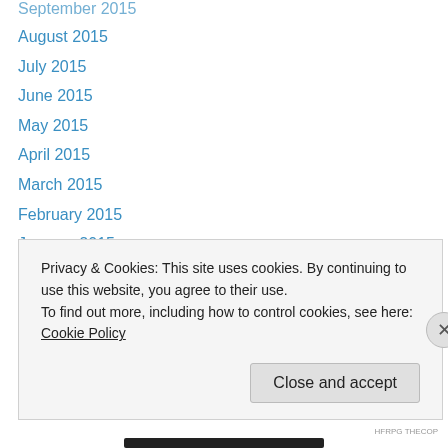September 2015
August 2015
July 2015
June 2015
May 2015
April 2015
March 2015
February 2015
January 2015
December 2014
November 2014
October 2014
September 2014
August 2014
Privacy & Cookies: This site uses cookies. By continuing to use this website, you agree to their use.
To find out more, including how to control cookies, see here: Cookie Policy
Close and accept